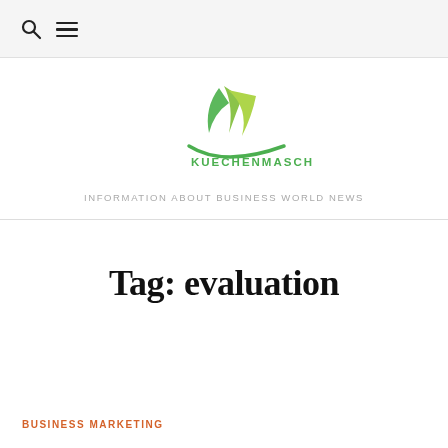🔍 ≡
[Figure (logo): Kuechenmaschine logo with green leaf and swoosh above text KUECHENMASCHINE in green]
INFORMATION ABOUT BUSINESS WORLD NEWS
Tag: evaluation
BUSINESS MARKETING